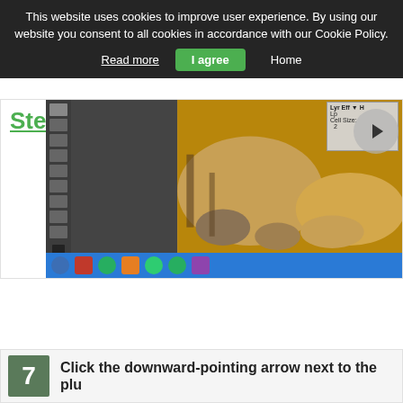This website uses cookies to improve user experience. By using our website you consent to all cookies in accordance with our Cookie Policy.
Read more
I agree
Home
Steps
[Figure (screenshot): Screenshot of Adobe Photoshop with a cat image open, showing the toolbar on the left, a panel in the upper right, and a Windows taskbar at the bottom.]
7  Click the downward-pointing arrow next to the plu